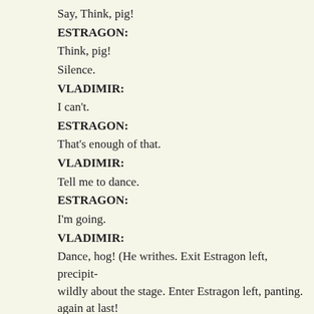Say, Think, pig!
ESTRAGON:
Think, pig!
Silence.
VLADIMIR:
I can't.
ESTRAGON:
That's enough of that.
VLADIMIR:
Tell me to dance.
ESTRAGON:
I'm going.
VLADIMIR:
Dance, hog! (He writhes. Exit Estragon left, precipit- wildly about the stage. Enter Estragon left, panting. again at last!
ESTRAGON:
I'm accursed!
VLADIMIR:
Where were you? I thought you were gone for ever.
ESTRAGON:
They're coming!
VLADIMIR:
Who?